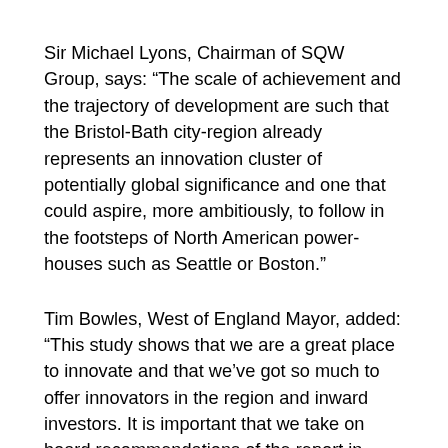Sir Michael Lyons, Chairman of SQW Group, says: “The scale of achievement and the trajectory of development are such that the Bristol-Bath city-region already represents an innovation cluster of potentially global significance and one that could aspire, more ambitiously, to follow in the footsteps of North American power-houses such as Seattle or Boston.”
Tim Bowles, West of England Mayor, added: “This study shows that we are a great place to innovate and that we’ve got so much to offer innovators in the region and inward investors. It is important that we take on board recommendations of the report in order to build on the reputation we have worked so hard to establish over the years and fulfil our true global potential.